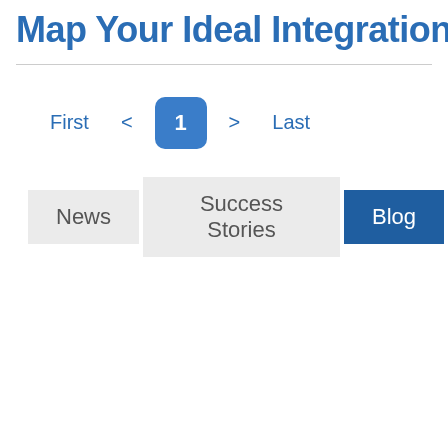Map Your Ideal Integration
First < 1 > Last
News | Success Stories | Blog